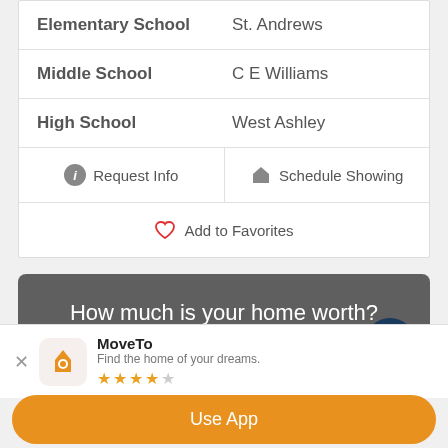|  |  |
| --- | --- |
| Elementary School | St. Andrews |
| Middle School | C E Williams |
| High School | West Ashley |
Request Info
Schedule Showing
Add to Favorites
[Figure (screenshot): Dark gray promotional banner reading 'How much is your home worth? ...get instant property value now.' with a dark blue scroll-up button]
MoveTo
Find the home of your dreams.
★★★★☆
Use App